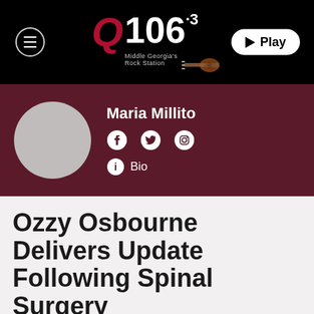[Figure (logo): Q106.3 Middle Georgia's Rock Station radio station logo with guitar graphic]
Maria Millito
[Figure (infographic): Author profile section with avatar placeholder, social media icons (Facebook, Twitter, Instagram) and Bio link]
Ozzy Osbourne Delivers Update Following Spinal Surgery